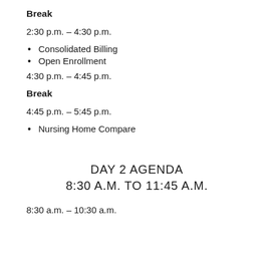Break
2:30 p.m. – 4:30 p.m.
Consolidated Billing
Open Enrollment
4:30 p.m. – 4:45 p.m.
Break
4:45 p.m. – 5:45 p.m.
Nursing Home Compare
DAY 2 AGENDA
8:30 A.M. TO 11:45 A.M.
8:30 a.m. – 10:30 a.m.